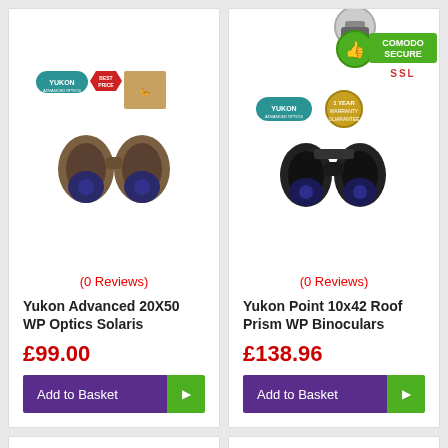[Figure (photo): Yukon Advanced 20X50 WP Optics Solaris binoculars - brown/tan colored, with Yukon logo badge, Best Price badge, and cheetah image]
(0 Reviews)
Yukon Advanced 20X50 WP Optics Solaris
£99.00
[Figure (photo): Yukon Point 10x42 Roof Prism WP Binoculars - black, with Comodo Secure SSL badge, Yukon logo, and warranty badge]
(0 Reviews)
Yukon Point 10x42 Roof Prism WP Binoculars
£138.96
[Figure (photo): Yukon binoculars - dark/camouflage colored with Yukon logo badge, partially visible]
[Figure (photo): Black binoculars with strap, partially visible at bottom right]